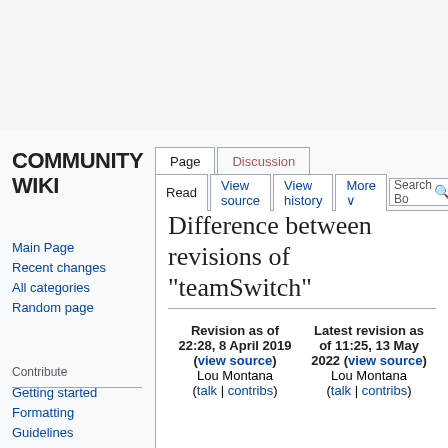COMMUNITY WIKI
Difference between revisions of "teamSwitch"
Revision as of 22:28, 8 April 2019 (view source)
Lou Montana
(talk | contribs)
Latest revision as of 11:25, 13 May 2022 (view source)
Lou Montana
(talk | contribs)
Main Page
Recent changes
All categories
Random page
Getting started
Formatting
Guidelines
Wiki Maintenance
Templates Overview